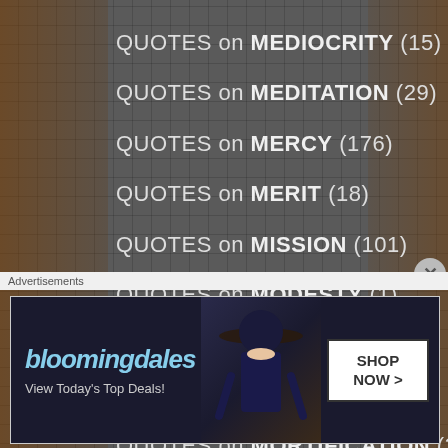QUOTES on MEDIOCRITY (15)
QUOTES on MEDITATION (29)
QUOTES on MERCY (176)
QUOTES on MERIT (18)
QUOTES on MISSION (101)
QUOTES on MODESTY (1)
QUOTES on MORALS (7)
QUOTES on MORTAL SIN (33)
QUOTES on MORTIFICATION (35)
QUOTES on MOTHERHOOD (7)
QUOTES on MUSIC/SINGING (4)
[Figure (infographic): Bloomingdale's advertisement banner: dark background with woman in wide-brim hat, brand name, tagline 'View Today's Top Deals!', and 'SHOP NOW >' button]